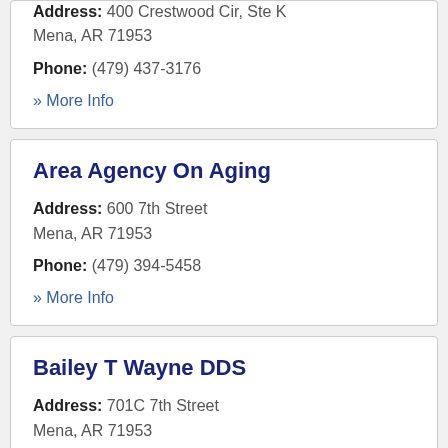Address: 400 Crestwood Cir, Ste K
Mena, AR 71953
Phone: (479) 437-3176
» More Info
Area Agency On Aging
Address: 600 7th Street
Mena, AR 71953
Phone: (479) 394-5458
» More Info
Bailey T Wayne DDS
Address: 701C 7th Street
Mena, AR 71953